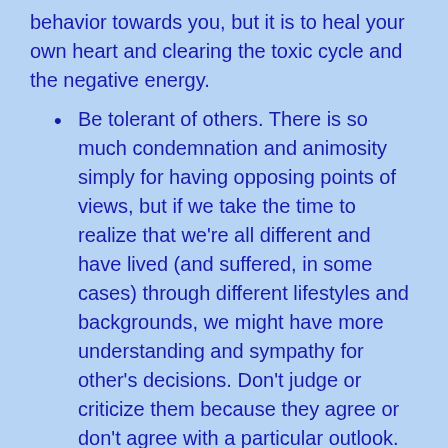behavior towards you, but it is to heal your own heart and clearing the toxic cycle and the negative energy.
Be tolerant of others. There is so much condemnation and animosity simply for having opposing points of views, but if we take the time to realize that we're all different and have lived (and suffered, in some cases) through different lifestyles and backgrounds, we might have more understanding and sympathy for other's decisions. Don't judge or criticize them because they agree or don't agree with a particular outlook.
No matter your situation or profession, if there are extreme mandates that you know is not right, do not participate. Be brave and do